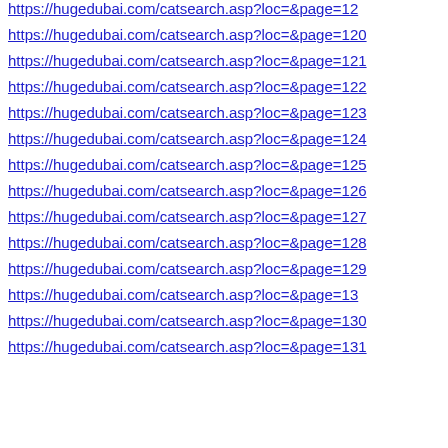https://hugedubai.com/catsearch.asp?loc=&page=12
https://hugedubai.com/catsearch.asp?loc=&page=120
https://hugedubai.com/catsearch.asp?loc=&page=121
https://hugedubai.com/catsearch.asp?loc=&page=122
https://hugedubai.com/catsearch.asp?loc=&page=123
https://hugedubai.com/catsearch.asp?loc=&page=124
https://hugedubai.com/catsearch.asp?loc=&page=125
https://hugedubai.com/catsearch.asp?loc=&page=126
https://hugedubai.com/catsearch.asp?loc=&page=127
https://hugedubai.com/catsearch.asp?loc=&page=128
https://hugedubai.com/catsearch.asp?loc=&page=129
https://hugedubai.com/catsearch.asp?loc=&page=13
https://hugedubai.com/catsearch.asp?loc=&page=130
https://hugedubai.com/catsearch.asp?loc=&page=131